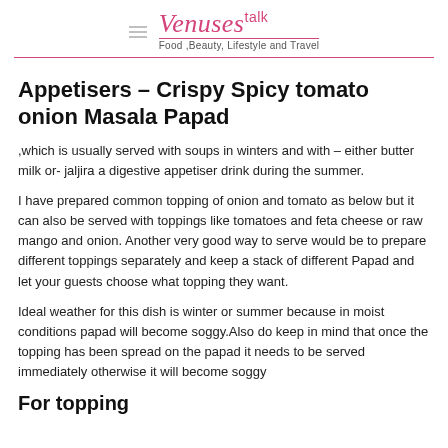Venuses talk — Food ,Beauty, Lifestyle and Travel
Appetisers – Crispy Spicy tomato onion Masala Papad
,which is usually served with soups in winters and with – either butter milk or- jaljira a digestive appetiser drink during the summer.
I have prepared common topping of onion and tomato as below but it can also be served with toppings like tomatoes and feta cheese or raw mango and onion. Another very good way to serve would be to prepare different toppings separately and keep a stack of different Papad and let your guests choose what topping they want.
Ideal weather for this dish is winter or summer because in moist conditions papad will become soggy.Also do keep in mind that once the topping has been spread on the papad it needs to be served immediately otherwise it will become soggy
For topping